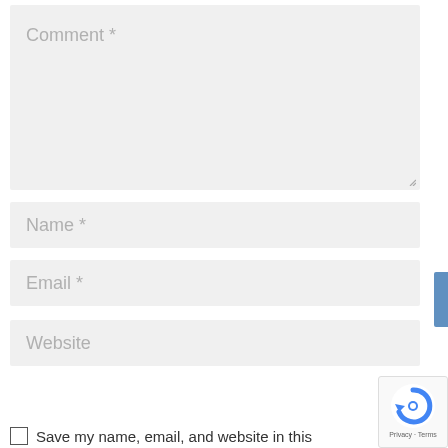[Figure (screenshot): Comment text area input field with placeholder text 'Comment *']
[Figure (screenshot): Name input field with placeholder text 'Name *']
[Figure (screenshot): Email input field with placeholder text 'Email *']
[Figure (screenshot): Website input field with placeholder text 'Website']
Save my name, email, and website in this
[Figure (logo): reCAPTCHA badge with logo and Privacy - Terms text]